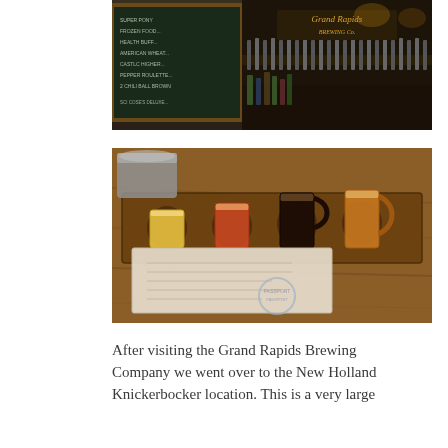[Figure (photo): Interior of Grand Rapids Brewing Company bar, showing a chalkboard menu on the left with beer names listed, a large wooden tap wall with many beer taps in the center, bottles behind the bar, and the Grand Rapids Brewing Co. logo sign above.]
[Figure (photo): A wooden flight board with several small beer glasses/mugs arranged in a row on a wooden table, showing various beer colors from light golden to dark brown. A menu/passport booklet is visible underneath the board.]
After visiting the Grand Rapids Brewing Company we went over to the New Holland Knickerbocker location. This is a very large